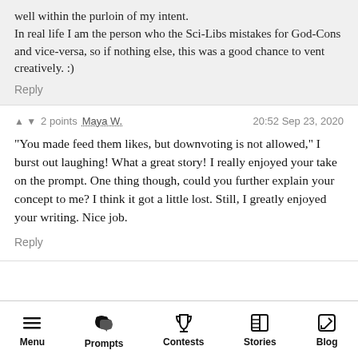well within the purloin of my intent.
In real life I am the person who the Sci-Libs mistakes for God-Cons and vice-versa, so if nothing else, this was a good chance to vent creatively. :)
Reply
▲ ▼ 2 points  Maya W.    20:52 Sep 23, 2020
"You made feed them likes, but downvoting is not allowed," I burst out laughing! What a great story! I really enjoyed your take on the prompt. One thing though, could you further explain your concept to me? I think it got a little lost. Still, I greatly enjoyed your writing. Nice job.
Reply
Menu  Prompts  Contests  Stories  Blog